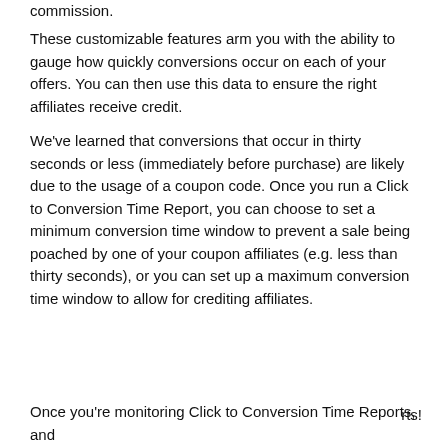commission.
These customizable features arm you with the ability to gauge how quickly conversions occur on each of your offers. You can then use this data to ensure the right affiliates receive credit.
We've learned that conversions that occur in thirty seconds or less (immediately before purchase) are likely due to the usage of a coupon code. Once you run a Click to Conversion Time Report, you can choose to set a minimum conversion time window to prevent a sale being poached by one of your coupon affiliates (e.g. less than thirty seconds), or you can set up a maximum conversion time window to allow for crediting affiliates.
[Figure (screenshot): Cookie consent overlay with purple background. Text reads: 'This website stores data such as cookies to enable important site functionality including analytics, targeting, and personalization. By remaining on this web site you indicate your consent. Learn more' with a yellow ACCEPT button.]
Once you're monitoring Click to Conversion Time Reports, and